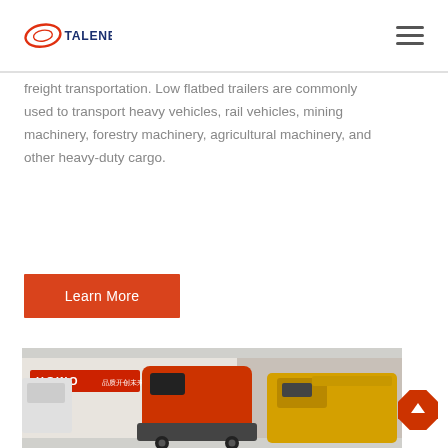TALENET
freight transportation. Low flatbed trailers are commonly used to transport heavy vehicles, rail vehicles, mining machinery, forestry machinery, agricultural machinery, and other heavy-duty cargo.
Learn More
[Figure (photo): Photo of HOWO trucks and heavy machinery in a dealer lot, with a red truck cab visible in the center and yellow construction machinery on the right.]